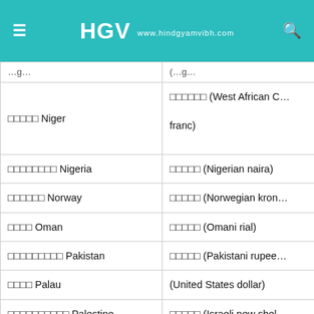HGV www.hindgyamvibh.com
| Country (Hindi + English) | Currency (Hindi + English) |
| --- | --- |
| □□□□□ Niger | □□□□□□ (West African CFA franc) |
| □□□□□□□□ Nigeria | □□□□□ (Nigerian naira) |
| □□□□□□ Norway | □□□□□ (Norwegian kron…) |
| □□□□ Oman | □□□□□ (Omani rial) |
| □□□□□□□□□ Pakistan | □□□□□ (Pakistani rupee…) |
| □□□□ Palau | (United States dollar) |
| □□□□□□□□□□ Palestine | □□□□□ (Israeli new shek…) |
| □□□□□ Panama | □□□□□□ (Panamanian ba…) |
| □□□ □□□□ □□□□□□ Papua New Guinea | □□□□ (Papua New Guin…) |
| □□□□□□□□ Paraguay | □□□□□□ (Paraguayan G…) |